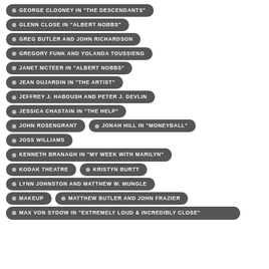GEORGE CLOONEY IN "THE DESCENDANTS"
GLENN CLOSE IN "ALBERT NOBBS"
GREG BUTLER AND JOHN RICHARDSON
GREGORY FUNK AND YOLANDA TOUSSIENG
JANET MCTEER IN "ALBERT NOBBS"
JEAN DUJARDIN IN "THE ARTIST"
JEFFREY J. HABOUSH AND PETER J. DEVLIN
JESSICA CHASTAIN IN "THE HELP"
JOHN ROSENGRANT
JONAH HILL IN "MONEYBALL"
JOSS WILLIAMS
KENNETH BRANAGH IN "MY WEEK WITH MARILYN"
KODAK THEATRE
KRISTYN BURTT
LYNN JOHNSTON AND MATTHEW W. MUNGLE
MAKEUP
MATTHEW BUTLER AND JOHN FRAZIER
MAX VON SYDOW IN "EXTREMELY LOUD & INCREDIBLY CLOSE"